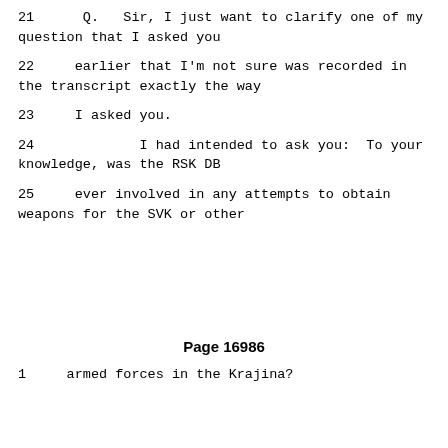21      Q.   Sir, I just want to clarify one of my question that I asked you
22      earlier that I'm not sure was recorded in the transcript exactly the way
23      I asked you.
24             I had intended to ask you:  To your knowledge, was the RSK DB
25      ever involved in any attempts to obtain weapons for the SVK or other
Page 16986
1      armed forces in the Krajina?